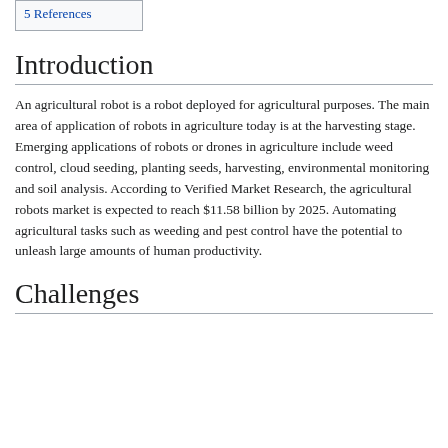5 References
Introduction
An agricultural robot is a robot deployed for agricultural purposes. The main area of application of robots in agriculture today is at the harvesting stage. Emerging applications of robots or drones in agriculture include weed control, cloud seeding, planting seeds, harvesting, environmental monitoring and soil analysis. According to Verified Market Research, the agricultural robots market is expected to reach $11.58 billion by 2025. Automating agricultural tasks such as weeding and pest control have the potential to unleash large amounts of human productivity.
Challenges